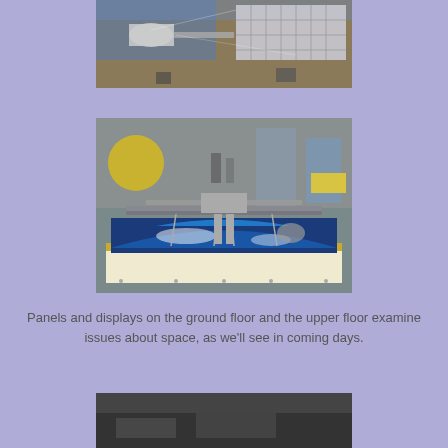[Figure (photo): Top-down view of an International Space Station model behind glass, showing solar panels and modules against a sandy/brown background]
[Figure (photo): Side view of an International Space Station scale model on a display table with an image of Earth below it, in a museum setting with colorful exhibits visible in the background]
Panels and displays on the ground floor and the upper floor examine issues about space, as we'll see in coming days.
[Figure (photo): Partially visible third photo showing a dark display area, cropped at the bottom of the page]